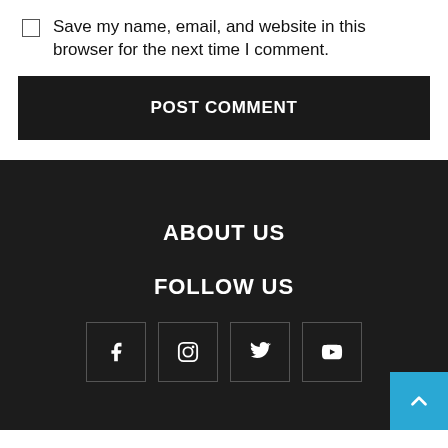Save my name, email, and website in this browser for the next time I comment.
POST COMMENT
ABOUT US
FOLLOW US
[Figure (illustration): Social media icons: Facebook, Instagram, Twitter, YouTube in bordered boxes]
[Figure (illustration): Back to top button with upward chevron arrow, teal background, bottom right corner]